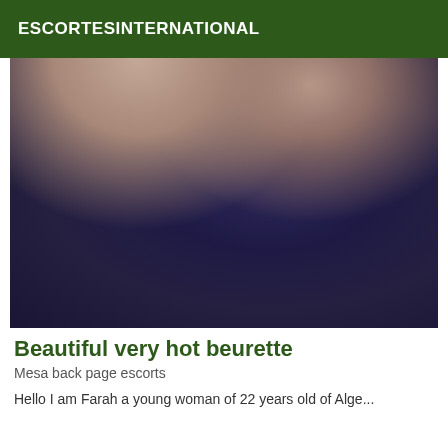ESCORTESINTERNATIONAL
[Figure (photo): Close-up photo showing dark hair and skin, predominantly dark blue-black tones with some lighter flesh tones in upper portion]
Beautiful very hot beurette
Mesa back page escorts
Hello I am Farah a young woman of 22 years old of Alge...